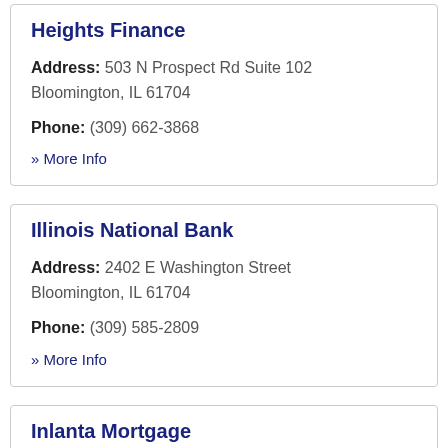Heights Finance
Address: 503 N Prospect Rd Suite 102 Bloomington, IL 61704
Phone: (309) 662-3868
» More Info
Illinois National Bank
Address: 2402 E Washington Street Bloomington, IL 61704
Phone: (309) 585-2809
» More Info
Inlanta Mortgage